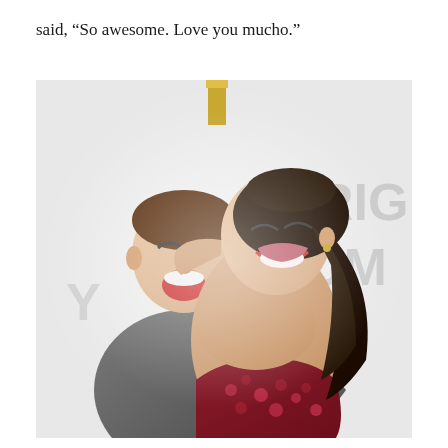said, “So awesome. Love you mucho.”
[Figure (photo): Two people hugging and laughing in front of a white step-and-repeat backdrop with partial letters visible. The man on the left wears a grey suit and the woman on the right wears a dark red sequined dress with spaghetti straps and has long dark hair.]